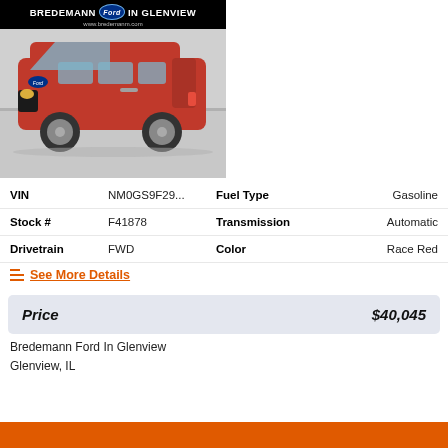[Figure (photo): Red Ford Transit Connect van photographed indoors at a dealership, with Bredemann Ford In Glenview dealer banner at top of image.]
| VIN | NM0GS9F29... | Fuel Type | Gasoline |
| Stock # | F41878 | Transmission | Automatic |
| Drivetrain | FWD | Color | Race Red |
See More Details
| Price | $40,045 |
| --- | --- |
Bredemann Ford In Glenview
Glenview, IL